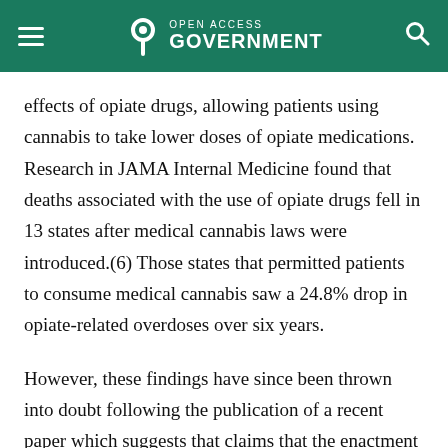Open Access Government
effects of opiate drugs, allowing patients using cannabis to take lower doses of opiate medications. Research in JAMA Internal Medicine found that deaths associated with the use of opiate drugs fell in 13 states after medical cannabis laws were introduced.(6) Those states that permitted patients to consume medical cannabis saw a 24.8% drop in opiate-related overdoses over six years.
However, these findings have since been thrown into doubt following the publication of a recent paper which suggests that claims that the enactment of medical cannabis laws reduces opioid-related deaths should be met with cynicism. (7) The paper goes on to state that the association between